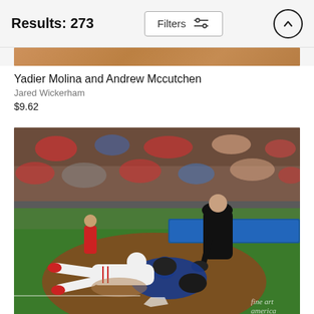Results: 273
[Figure (photo): Partial view of a baseball photo with brown/wood-toned strip visible at top]
Yadier Molina and Andrew Mccutchen
Jared Wickerham
$9.62
[Figure (photo): Baseball game action photo showing a slide play at home plate. A runner in a white pinstripe uniform slides into home as a catcher in blue gear attempts a tag, while an umpire in black leans in to make the call. A large crowd fills the stadium background. Fine Art America watermark in the bottom right corner.]